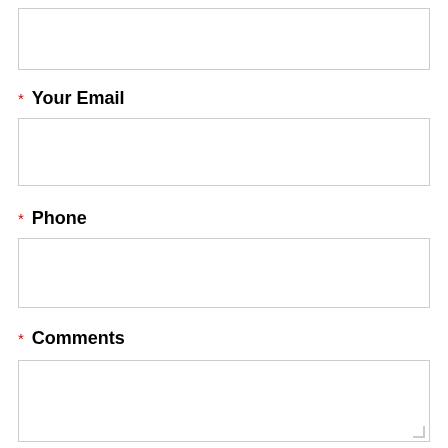[Figure (other): Empty text input field (top, partially visible)]
* Your Email
[Figure (other): Empty text input field for email]
* Phone
[Figure (other): Empty text input field for phone]
* Comments
[Figure (other): Empty textarea for comments, resizable]